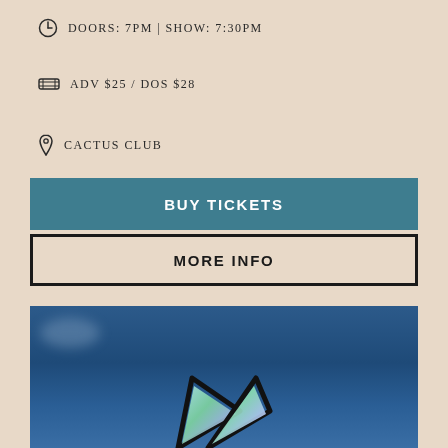DOORS: 7PM | SHOW: 7:30PM
ADV $25 / DOS $28
CACTUS CLUB
BUY TICKETS
MORE INFO
[Figure (photo): Photo of a person or figure against a blue sky background, with animal-like ears (cat/bunny ears) visible at the bottom of the frame, ears appear iridescent/pearlescent with black outline]